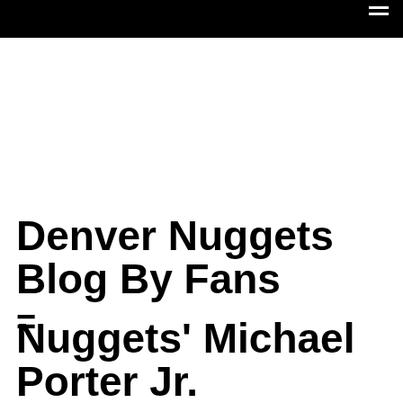Denver Nuggets Blog By Fans =
Nuggets' Michael Porter Jr. undergoes back surgery, team